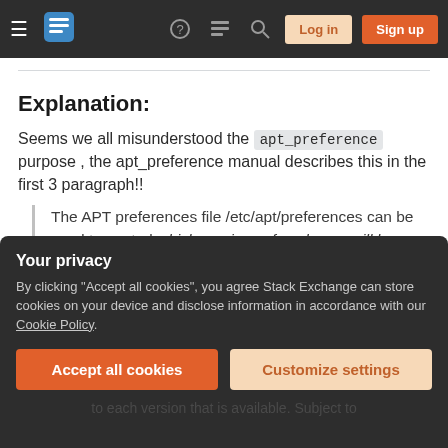Stack Exchange navigation bar with hamburger menu, logo, help, chat, search icons, Log in and Sign up buttons
Explanation:
Seems we all misunderstood the apt_preference purpose , the apt_preference manual describes this in the first 3 paragraph!!
The APT preferences file /etc/apt/preferences can be used to control which versions of packages will be selected for installation.
Your privacy
By clicking "Accept all cookies", you agree Stack Exchange can store cookies on your device and disclose information in accordance with our Cookie Policy.
Accept all cookies
Customize settings
to each version that is available. Subject to